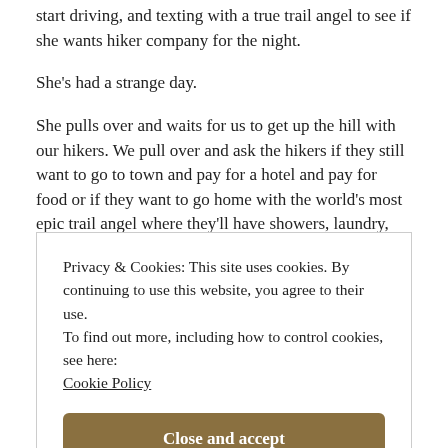start driving, and texting with a true trail angel to see if she wants hiker company for the night.
She's had a strange day.
She pulls over and waits for us to get up the hill with our hikers. We pull over and ask the hikers if they still want to go to town and pay for a hotel and pay for food or if they want to go home with the world's most epic trail angel where they'll have showers, laundry, food,
Privacy & Cookies: This site uses cookies. By continuing to use this website, you agree to their use.
To find out more, including how to control cookies, see here: Cookie Policy
Close and accept
together. Yes, we broke isolation by letting trail hikers